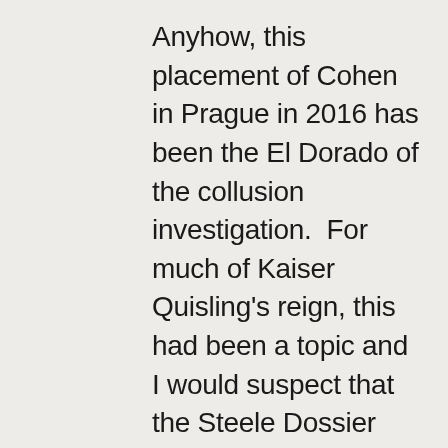Anyhow, this placement of Cohen in Prague in 2016 has been the El Dorado of the collusion investigation.  For much of Kaiser Quisling's reign, this had been a topic and I would suspect that the Steele Dossier may have used some UK spook intercepts since I'm pretty sure after Philby and the occasional dead Putin critic they are very interested in any Soviet Russian activities by the FSB, et al.  Steele was one of them and I'm sure he had friends